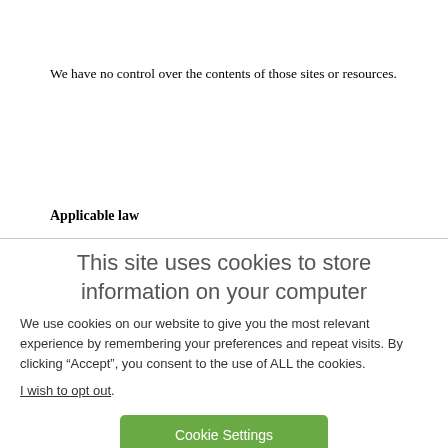We have no control over the contents of those sites or resources.
Applicable law
If you are a consumer, please note that these terms of use, its subject matter and its formation, are governed by English law. You and we both agree to that the courts of
This site uses cookies to store information on your computer
We use cookies on our website to give you the most relevant experience by remembering your preferences and repeat visits. By clicking “Accept”, you consent to the use of ALL the cookies.
I wish to opt out.
Cookie Settings